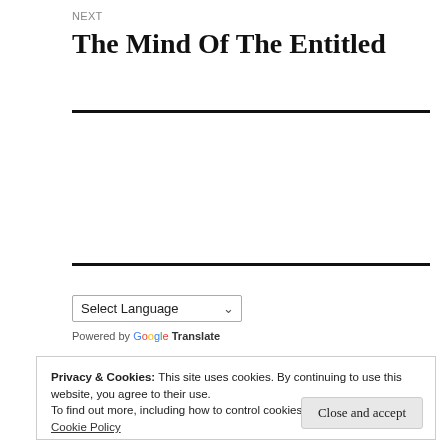NEXT
The Mind Of The Entitled
Select Language
Powered by Google Translate
Privacy & Cookies: This site uses cookies. By continuing to use this website, you agree to their use.
To find out more, including how to control cookies, see here:
Cookie Policy
Close and accept